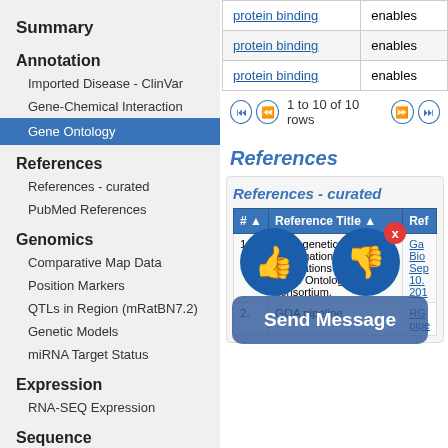Summary
Annotation
Imported Disease - ClinVar
Gene-Chemical Interaction
Gene Ontology
References
References - curated
PubMed References
Genomics
Comparative Map Data
Position Markers
QTLs in Region (mRatBN7.2)
Genetic Models
miRNA Target Status
Expression
RNA-SEQ Expression
Sequence
|  |  |
| --- | --- |
| protein binding | enables |
| protein binding | enables |
| protein binding | enables |
1 to 10 of 10 rows
References
References - curated
| # | Reference Title | Ref |
| --- | --- | --- |
| 1 | Phylogenetically-based propagation of functional annotations within the Gene Ontology consortium. | Ga Bio Sep 10. 201 |
| 2 | GOA pipeline | RG pipe |
[Figure (screenshot): Feedback overlay with thumbs up and thumbs down buttons and a 'Send Message' button shown over the right panel]